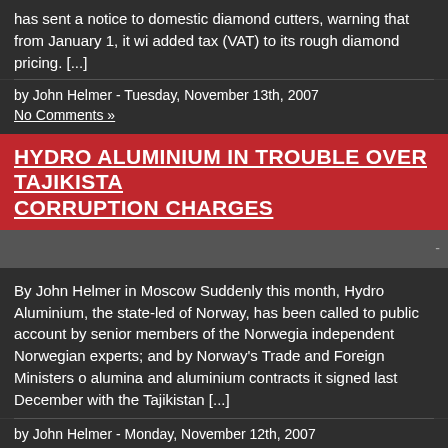has sent a notice to domestic diamond cutters, warning that from January 1, it will added tax (VAT) to its rough diamond pricing. [...]
by John Helmer - Tuesday, November 13th, 2007
No Comments »
HYDRO ALUMINIUM IN TROUBLE OVER TAJIKISTAN CORRUPTION CHARGES
By John Helmer in Moscow Suddenly this month, Hydro Aluminium, the state-led of Norway, has been called to public account by senior members of the Norwegia independent Norwegian experts; and by Norway's Trade and Foreign Ministers o alumina and aluminium contracts it signed last December with the Tajikistan [...]
by John Helmer - Monday, November 12th, 2007
No Comments »
DIAMOND EXPLORERS FROM ISRAELI TELECOMS COMPANY CREATE MYSTERY IN ANGOLA